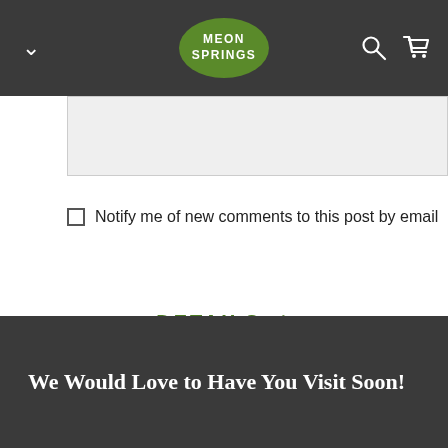MEON SPRINGS
Notify me of new comments to this post by email
DETAILS +
We Would Love to Have You Visit Soon!